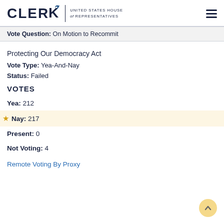CLERK | UNITED STATES HOUSE of REPRESENTATIVES
Vote Question: On Motion to Recommit
Protecting Our Democracy Act
Vote Type: Yea-And-Nay
Status: Failed
VOTES
Yea: 212
Nay: 217
Present: 0
Not Voting: 4
Remote Voting By Proxy